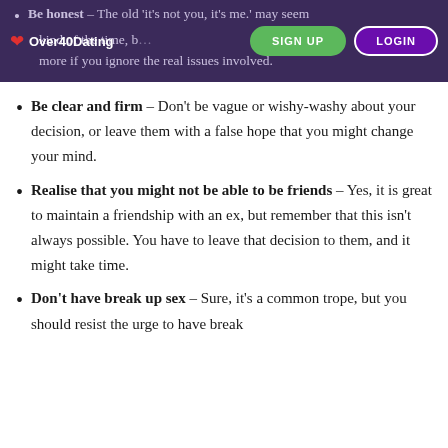Over40Dating | SIGN UP | LOGIN
Be honest – The old 'it's not you, it's me.' may seem kind of the time, ... more if you ignore the real issues involved.
Be clear and firm – Don't be vague or wishy-washy about your decision, or leave them with a false hope that you might change your mind.
Realise that you might not be able to be friends – Yes, it is great to maintain a friendship with an ex, but remember that this isn't always possible. You have to leave that decision to them, and it might take time.
Don't have break up sex – Sure, it's a common trope, but you should resist the urge to have break